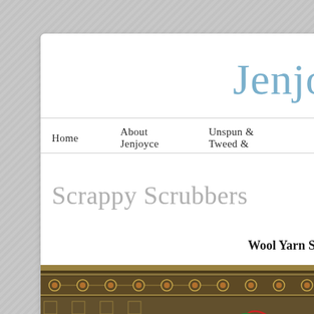Jenjo
Home    About Jenjoyce    Unspun & Tweed &
Scrappy Scrubbers
Wool Yarn Sc
[Figure (photo): A decorative patterned rug with brown, cream and orange floral/geometric motifs, with colorful yarn scrubbers laid on top]